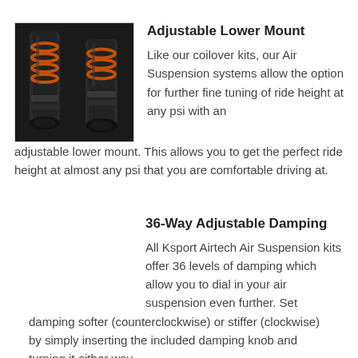[Figure (photo): Close-up photo of black shock absorber/coilover components with orange accents]
Adjustable Lower Mount
Like our coilover kits, our Air Suspension systems allow the option for further fine tuning of ride height at any psi with an adjustable lower mount. This allows you to get the perfect ride height at almost any psi that you are comfortable driving at.
36-Way Adjustable Damping
All Ksport Airtech Air Suspension kits offer 36 levels of damping which allow you to dial in your air suspension even further. Set damping softer (counterclockwise) or stiffer (clockwise) by simply inserting the included damping knob and turning it either way.